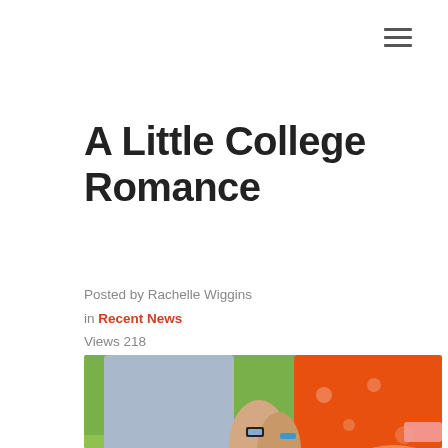≡
A Little College Romance
Posted by Rachelle Wiggins in Recent News
Views 218
[Figure (photo): A couple holding hands outdoors on grass, man in blue shirt and khaki pants, woman in orange floral dress, close-up of their joined hands with a watch visible.]